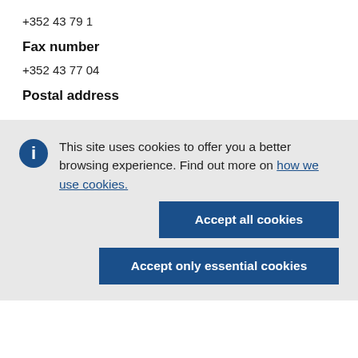+352 43 79 1
Fax number
+352 43 77 04
Postal address
This site uses cookies to offer you a better browsing experience. Find out more on how we use cookies.
Accept all cookies
Accept only essential cookies